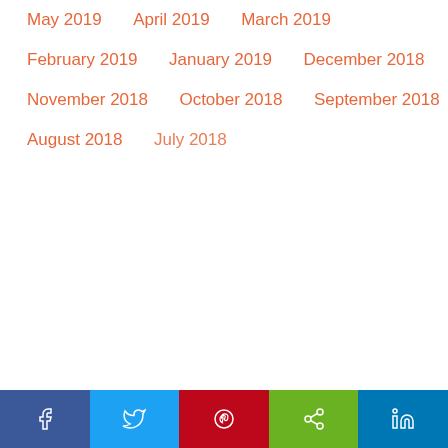May 2019
April 2019
March 2019
February 2019
January 2019
December 2018
November 2018
October 2018
September 2018
August 2018
July 2018
Social share bar: Facebook, Twitter, Pinterest, Share, LinkedIn